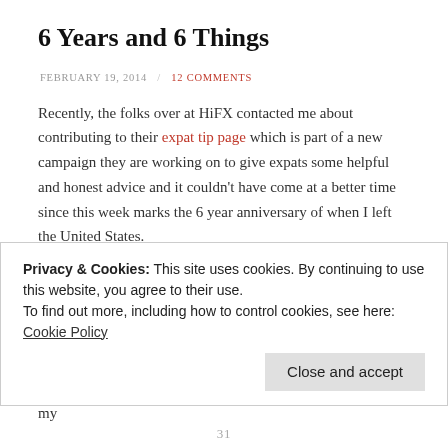6 Years and 6 Things
FEBRUARY 19, 2014  /  12 COMMENTS
Recently, the folks over at HiFX contacted me about contributing to their expat tip page which is part of a new campaign they are working on to give expats some helpful and honest advice and it couldn't have come at a better time since this week marks the 6 year anniversary of when I left the United States.
6 years.  That number still amazes me.
Since then it has been a roller coaster ride of ups and downs (mostly ups) in which I have lived in 3 different countries, 2 different hemispheres, had 6 different jobs, met some of my best friends, and stumbled across a French man who became my
Privacy & Cookies: This site uses cookies. By continuing to use this website, you agree to their use.
To find out more, including how to control cookies, see here: Cookie Policy
Close and accept
31